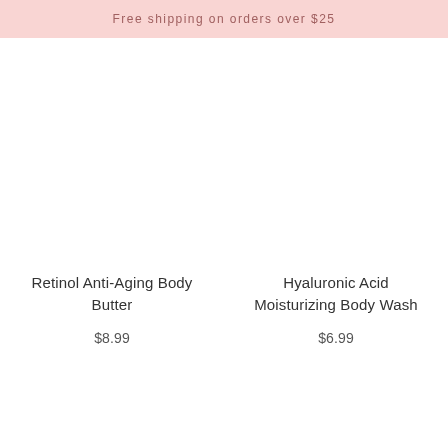Free shipping on orders over $25
Retinol Anti-Aging Body Butter
$8.99
Hyaluronic Acid Moisturizing Body Wash
$6.99